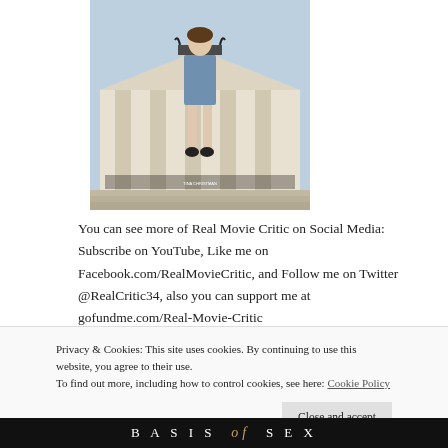[Figure (photo): Movie poster showing a woman in a blue skirt standing in front of a classical building with columns]
You can see more of Real Movie Critic on Social Media: Subscribe on YouTube, Like me on Facebook.com/RealMovieCritic, and Follow me on Twitter @RealCritic34, also you can support me at gofundme.com/Real-Movie-Critic
Privacy & Cookies: This site uses cookies. By continuing to use this website, you agree to their use. To find out more, including how to control cookies, see here: Cookie Policy
Close and accept
BASIS of SEX